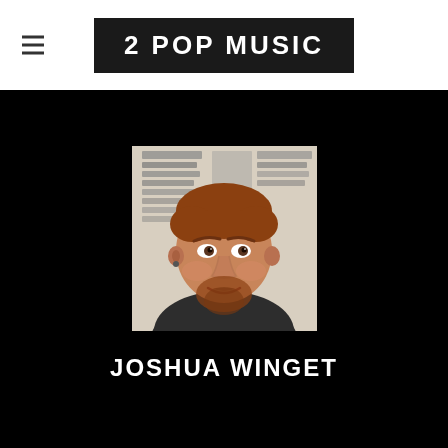2 POP MUSIC
[Figure (photo): Portrait photo of Joshua Winget, a man with reddish-brown hair and beard wearing a dark shirt, seated in front of what appears to be music equipment or a mixing board on the wall behind him.]
JOSHUA WINGET